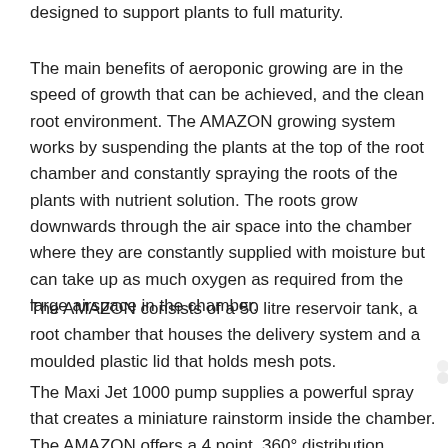designed to support plants to full maturity.
The main benefits of aeroponic growing are in the speed of growth that can be achieved, and the clean root environment. The AMAZON growing system works by suspending the plants at the top of the root chamber and constantly spraying the roots of the plants with nutrient solution. The roots grow downwards through the air space into the chamber where they are constantly supplied with moisture but can take up as much oxygen as required from the large airspace in the chamber.
The AMAZON consists of a 50 litre reservoir tank, a root chamber that houses the delivery system and a moulded plastic lid that holds mesh pots.
The Maxi Jet 1000 pump supplies a powerful spray that creates a miniature rainstorm inside the chamber. The AMAZON offers a 4 point, 360° distribution system that showers the whole root area being supplied by at...